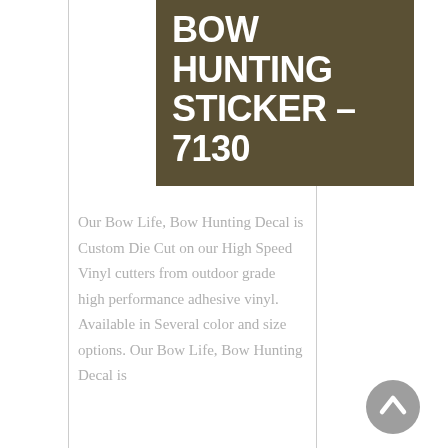BOW HUNTING STICKER – 7130
Our Bow Life, Bow Hunting Decal is Custom Die Cut on our High Speed Vinyl cutters from outdoor grade high performance adhesive vinyl. Available in Several color and size options. Our Bow Life, Bow Hunting Decal is
[Figure (other): Gray circular back-to-top button with upward chevron arrow]